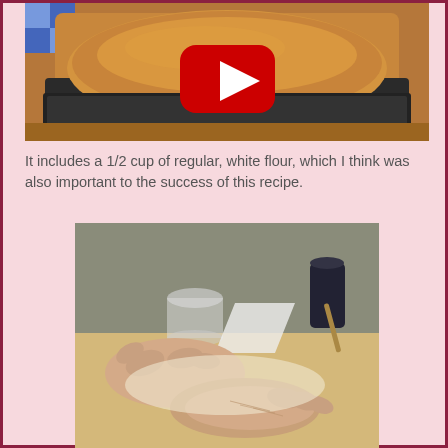[Figure (screenshot): YouTube video thumbnail showing a golden-brown loaf of bread in a dark baking pan, with a YouTube play button overlay in red and white. A blue and white checkered cloth is visible in the background corner.]
It includes a 1/2 cup of regular, white flour, which I think was also important to the success of this recipe.
[Figure (photo): Photo of elderly hands kneading dough on a wooden surface, with kitchen items visible in the background including a plastic cup, a dark can, and other utensils.]